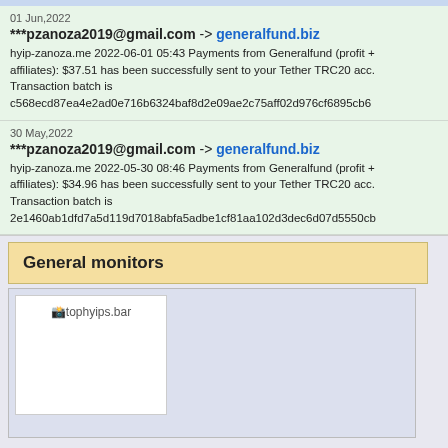01 Jun,2022
***pzanoza2019@gmail.com -> generalfund.biz
hyip-zanoza.me 2022-06-01 05:43 Payments from Generalfund (profit + affiliates): $37.51 has been successfully sent to your Tether TRC20 acc. Transaction batch is c568ecd87ea4e2ad0e716b6324baf8d2e09ae2c75aff02d976cf6895cb6
30 May,2022
***pzanoza2019@gmail.com -> generalfund.biz
hyip-zanoza.me 2022-05-30 08:46 Payments from Generalfund (profit + affiliates): $34.96 has been successfully sent to your Tether TRC20 acc. Transaction batch is 2e1460ab1dfd7a5d119d7018abfa5adbe1cf81aa102d3dec6d07d5550cb
General monitors
[Figure (other): tophyips.bar monitor logo placeholder image]